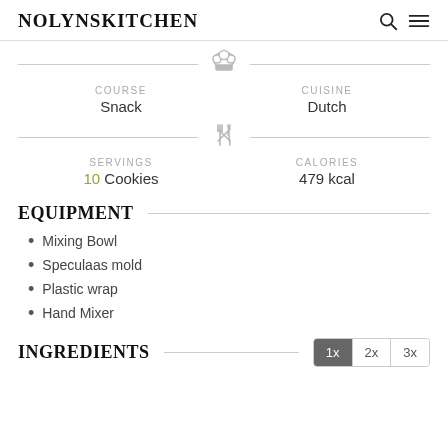NOLYNSKITCHEN
COURSE: Snack | CUISINE: Dutch
SERVINGS: 10 Cookies | CALORIES: 479 kcal
EQUIPMENT
Mixing Bowl
Speculaas mold
Plastic wrap
Hand Mixer
INGREDIENTS